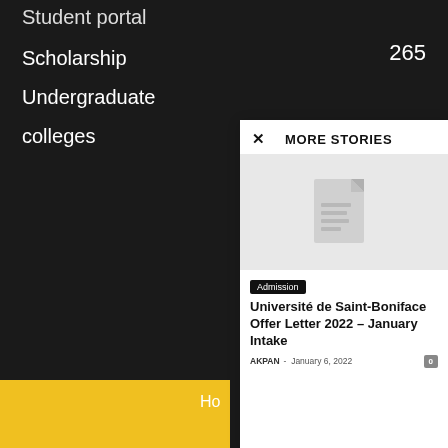Student portal
Scholarship
Undergraduate
colleges
265
Ho
MORE STORIES
[Figure (illustration): Document/file placeholder icon on light grey background]
Admission
Université de Saint-Boniface Offer Letter 2022 – January Intake
AKPAN  -  January 6, 2022